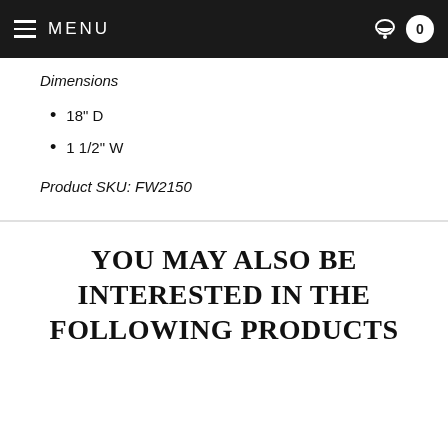MENU  0
Dimensions
18" D
1 1/2" W
Product SKU: FW2150
YOU MAY ALSO BE INTERESTED IN THE FOLLOWING PRODUCTS